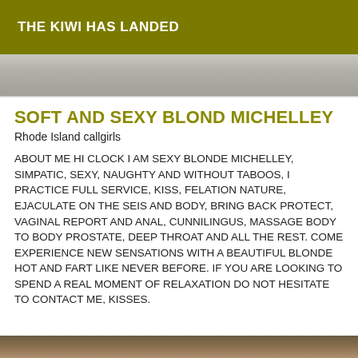THE KIWI HAS LANDED
[Figure (photo): Partial photo strip at top of content area, showing a blurred background image]
SOFT AND SEXY BLOND MICHELLEY
Rhode Island callgirls
ABOUT ME HI CLOCK I AM SEXY BLONDE MICHELLEY, SIMPATIC, SEXY, NAUGHTY AND WITHOUT TABOOS, I PRACTICE FULL SERVICE, KISS, FELATION NATURE, EJACULATE ON THE SEIS AND BODY, BRING BACK PROTECT, VAGINAL REPORT AND ANAL, CUNNILINGUS, MASSAGE BODY TO BODY PROSTATE, DEEP THROAT AND ALL THE REST. COME EXPERIENCE NEW SENSATIONS WITH A BEAUTIFUL BLONDE HOT AND FART LIKE NEVER BEFORE. IF YOU ARE LOOKING TO SPEND A REAL MOMENT OF RELAXATION DO NOT HESITATE TO CONTACT ME, KISSES.
[Figure (photo): Partial photo strip at bottom of page]